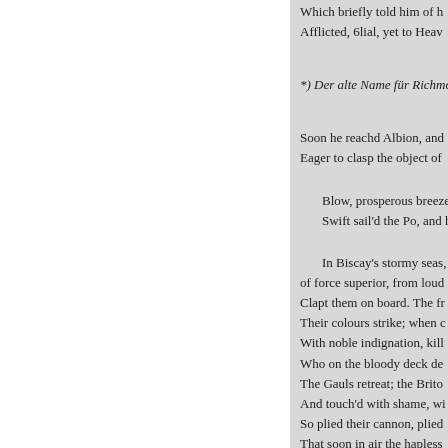Which briefly told him of h
Afflicted, 6lial, yet to Heav
*) Der alte Name für Richmon
Soon he reachd Albion, and
Eager to clasp the object of
Blow, prosperous breezes
Swift sail'd the Po, and happ
In Biscay's stormy seas, a
of force superior, from loud
Clapt them on board. The fr
Their colours strike; when c
With noble indignation, kill
Who on the bloody deck de
The Gauls retreat; the Brito
And touch'd with shame, wi
So plied their cannon, plied
That soon in air the hapless
Blow, prosperous breezes
May no more dangerous fig